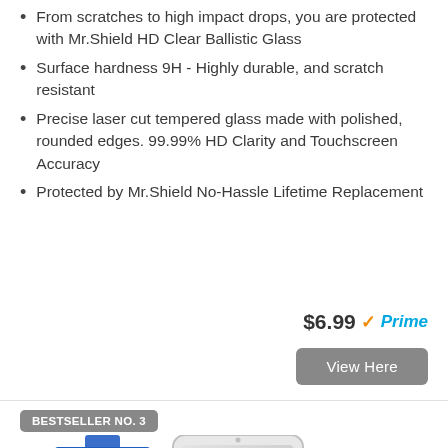From scratches to high impact drops, you are protected with Mr.Shield HD Clear Ballistic Glass
Surface hardness 9H - Highly durable, and scratch resistant
Precise laser cut tempered glass made with polished, rounded edges. 99.99% HD Clarity and Touchscreen Accuracy
Protected by Mr.Shield No-Hassle Lifetime Replacement
$6.99 ✓Prime
View Here
BESTSELLER NO. 3
[Figure (photo): Product image showing a blue retail box packaging and a smartphone with screen protector applied]